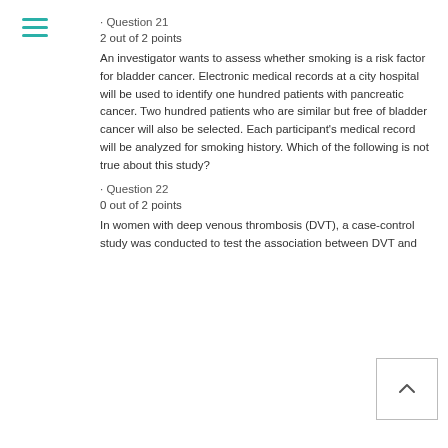· Question 21
2 out of 2 points
An investigator wants to assess whether smoking is a risk factor for bladder cancer. Electronic medical records at a city hospital will be used to identify one hundred patients with pancreatic cancer. Two hundred patients who are similar but free of bladder cancer will also be selected. Each participant's medical record will be analyzed for smoking history. Which of the following is not true about this study?
· Question 22
0 out of 2 points
In women with deep venous thrombosis (DVT), a case-control study was conducted to test the association between DVT and